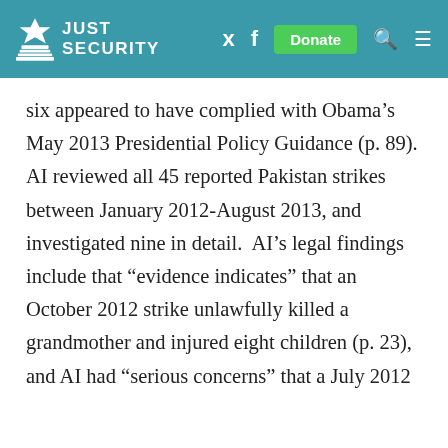JUST SECURITY
six appeared to have complied with Obama’s May 2013 Presidential Policy Guidance (p. 89). AI reviewed all 45 reported Pakistan strikes between January 2012-August 2013, and investigated nine in detail. AI’s legal findings include that “evidence indicates” that an October 2012 strike unlawfully killed a grandmother and injured eight children (p. 23), and AI had “serious concerns” that a July 2012